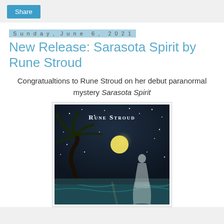Share
Sunday, June 6, 2021
New Release: Sarasota Spirit by Rune Stroud
Congratualtions to Rune Stroud on her debut paranormal mystery Sarasota Spirit
[Figure (illustration): Book cover of Sarasota Spirit by Rune Stroud showing a nighttime beach scene with a full moon, palm tree, stars, and a ghost-like white silhouette of a woman standing near the water]